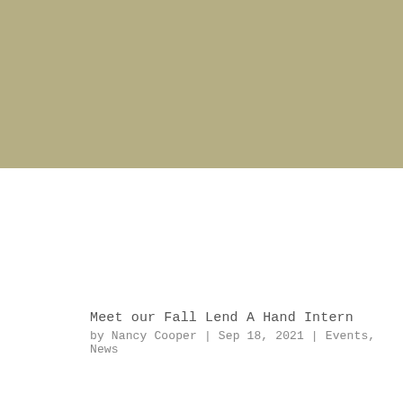[Figure (photo): Olive/khaki colored rectangular banner image at the top of the page]
Meet our Fall Lend A Hand Intern
by Nancy Cooper | Sep 18, 2021 | Events, News